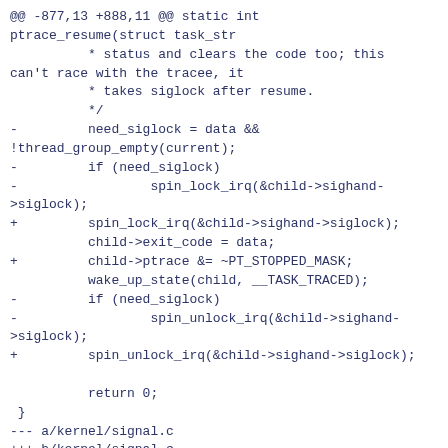@@ -877,13 +888,11 @@ static int ptrace_resume(struct task_str
           * status and clears the code too; this can't race with the tracee, it
           * takes siglock after resume.
           */
-         need_siglock = data && !thread_group_empty(current);
-         if (need_siglock)
-                 spin_lock_irq(&child->sighand->siglock);
+         spin_lock_irq(&child->sighand->siglock);
           child->exit_code = data;
+         child->ptrace &= ~PT_STOPPED_MASK;
           wake_up_state(child, __TASK_TRACED);
-         if (need_siglock)
-                 spin_unlock_irq(&child->sighand->siglock);
+         spin_unlock_irq(&child->sighand->siglock);

           return 0;
 }
--- a/kernel/signal.c
+++ b/kernel/signal.c
@@ -2228,6 +2228,7 @@ static void ptrace_stop(int exit_code, i
                                 return;
           }

+         current->ptrace |= PT_STOPPED_MASK;